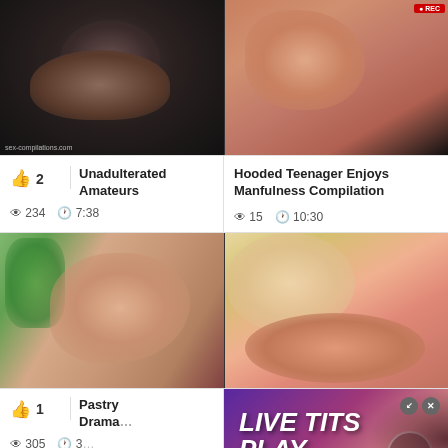[Figure (screenshot): Video thumbnail showing dark scene, watermark text sex-compilations.com at bottom]
[Figure (screenshot): Video thumbnail showing close-up skin tones with red recording badge]
2  Unadulterated Amateurs  👁 234  🕐 7:38
Hooded Teenager Enjoys Manfulness Compilation  👁 15  🕐 10:30
[Figure (screenshot): Video thumbnail outdoor scene]
[Figure (screenshot): Video thumbnail blonde close-up]
1  Pastry Drama...  👁 305  🕐 3...
[Figure (screenshot): Advertisement overlay: LIVE TITS PLAY with purple/pink gradient background]